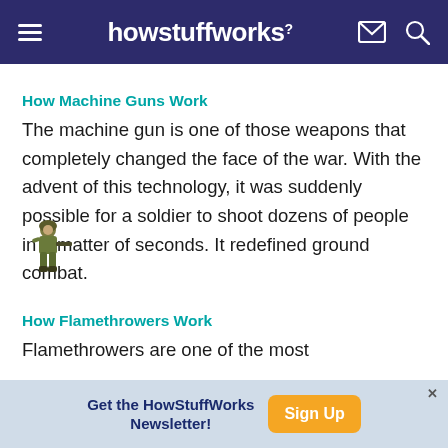howstuffworks
How Machine Guns Work
The machine gun is one of those weapons that completely changed the face of the war. With the advent of this technology, it was suddenly possible for a soldier to shoot dozens of people in a matter of seconds. It redefined ground combat.
[Figure (illustration): Small illustration of a soldier with a machine gun]
How Flamethrowers Work
Flamethrowers are one of the most
Get the HowStuffWorks Newsletter! Sign Up